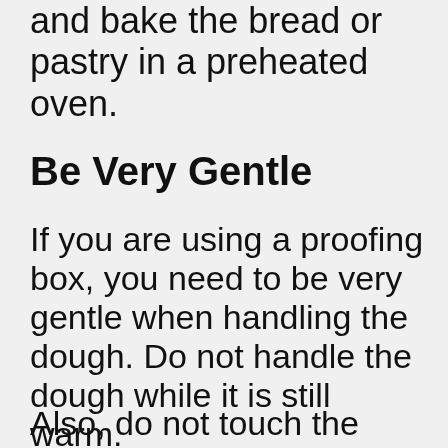and bake the bread or pastry in a preheated oven.
Be Very Gentle
If you are using a proofing box, you need to be very gentle when handling the dough. Do not handle the dough while it is still warm.
Also, do not touch the sides of the